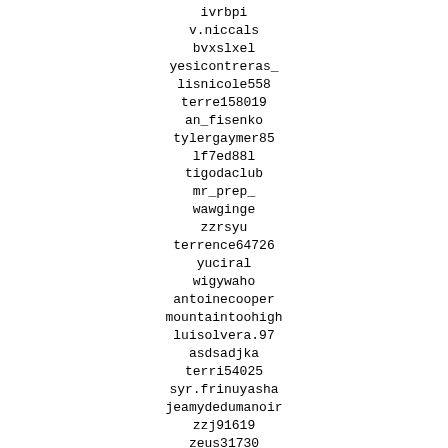ivrbpi
v.niccals
bvxslxel
yesicontreras_
lisnicole558
terre158019
an_fisenko
tylergaymer85
lf7ed88l
tigodaclub
mr_prep_
wawginge
zzrsyu
terrence64726
yuciral
wigywaho
antoinecooper
mountaintoohigh
luisolvera.97
asdsadjka
terri54025
syr.frinuyasha
jeamydedumanoir
zzj91619
zeus31730
traveler-dogs
yseyqm9o3a1
maris-vasina
tifftiff2332
trever76374